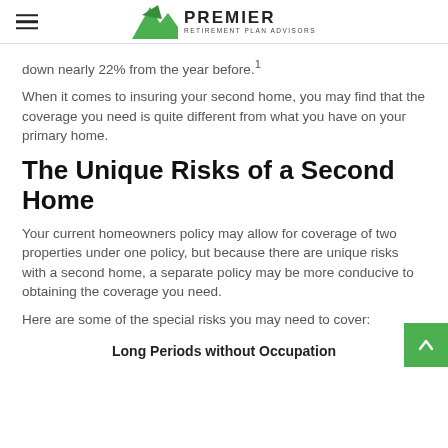Premier Retirement Plan Advisors
down nearly 22% from the year before.¹
When it comes to insuring your second home, you may find that the coverage you need is quite different from what you have on your primary home.
The Unique Risks of a Second Home
Your current homeowners policy may allow for coverage of two properties under one policy, but because there are unique risks with a second home, a separate policy may be more conducive to obtaining the coverage you need.
Here are some of the special risks you may need to cover:
Long Periods without Occupation